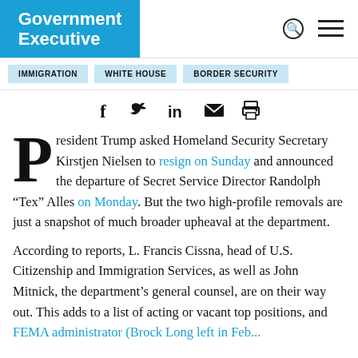Government Executive
IMMIGRATION
WHITE HOUSE
BORDER SECURITY
[Figure (infographic): Social share icons: Facebook, Twitter, LinkedIn, Email, Print]
President Trump asked Homeland Security Secretary Kirstjen Nielsen to resign on Sunday and announced the departure of Secret Service Director Randolph “Tex” Alles on Monday. But the two high-profile removals are just a snapshot of much broader upheaval at the department.
According to reports, L. Francis Cissna, head of U.S. Citizenship and Immigration Services, as well as John Mitnick, the department’s general counsel, are on their way out. This adds to a list of acting or vacant top positions, and ... FEMA administrator (Brock Long left in Feb...